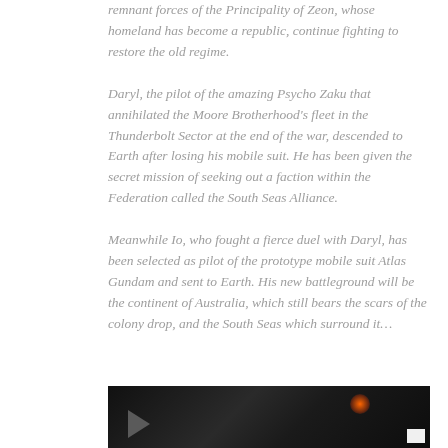remnant forces of the Principality of Zeon, whose homeland has become a republic, continue fighting to restore the old regime.
Daryl, the pilot of the amazing Psycho Zaku that annihilated the Moore Brotherhood's fleet in the Thunderbolt Sector at the end of the war, descended to Earth after losing his mobile suit. He has been given the secret mission of seeking out a faction within the Federation called the South Seas Alliance.
Meanwhile Io, who fought a fierce duel with Daryl, has been selected as pilot of the prototype mobile suit Atlas Gundam and sent to Earth. His new battleground will be the continent of Australia, which still bears the scars of the colony drop, and the South Seas which surround it...
[Figure (photo): A dark, partially visible image at the bottom of the page showing what appears to be a mechanical or spacecraft scene with an orange glowing element and dark background.]